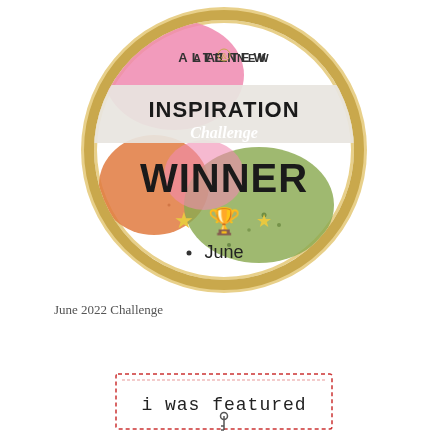[Figure (logo): Altenew Inspiration Challenge Winner badge — circular badge with gold border, colorful paint smears (pink, orange, green) in background, text reading ALTENEW at top, INSPIRATION Challenge in middle, WINNER in large bold text, trophy emoji with stars, and 'June' below]
June 2022 Challenge
[Figure (logo): I was featured badge — rectangular badge with dashed red border, handwritten-style text 'i was featured' with a small key icon below]